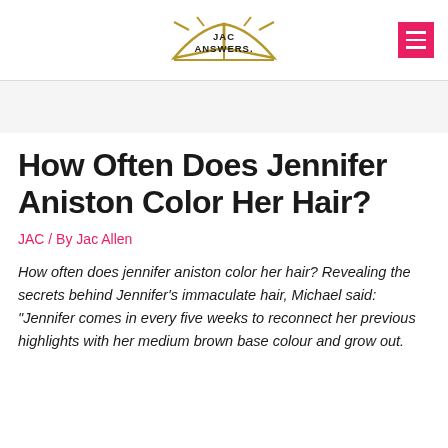JAC ANSWERS.
How Often Does Jennifer Aniston Color Her Hair?
JAC / By Jac Allen
How often does jennifer aniston color her hair? Revealing the secrets behind Jennifer’s immaculate hair, Michael said: “Jennifer comes in every five weeks to reconnect her previous highlights with her medium brown base colour and grow out.